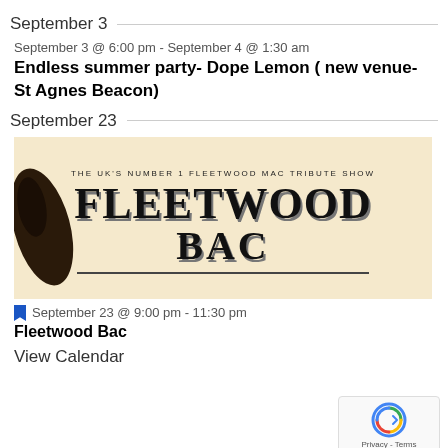September 3
September 3 @ 6:00 pm - September 4 @ 1:30 am
Endless summer party- Dope Lemon ( new venue- St Agnes Beacon)
September 23
[Figure (illustration): Fleetwood Bac band poster on cream/beige background. Text reads: THE UK'S NUMBER 1 FLEETWOOD MAC TRIBUTE SHOW, FLEETWOOD BAC. Decorative Art Nouveau style lettering with a silhouette figure on the left.]
September 23 @ 9:00 pm - 11:30 pm
Fleetwood Bac
View Calendar